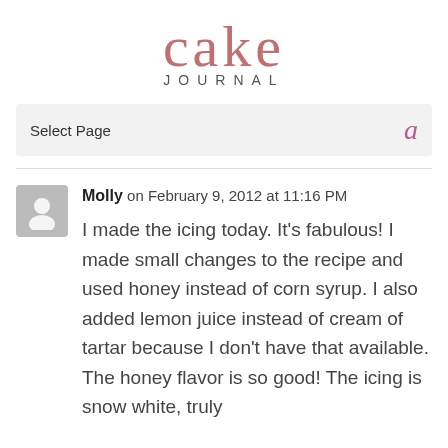cake JOURNAL
Select Page
Molly on February 9, 2012 at 11:16 PM
I made the icing today. It's fabulous! I made small changes to the recipe and used honey instead of corn syrup. I also added lemon juice instead of cream of tartar because I don't have that available. The honey flavor is so good! The icing is snow white, truly